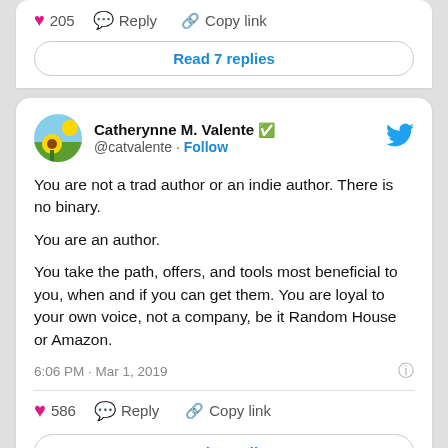205  Reply  Copy link
Read 7 replies
Catherynne M. Valente @catvalente · Follow
You are not a trad author or an indie author. There is no binary.

You are an author.

You take the path, offers, and tools most beneficial to you, when and if you can get them. You are loyal to your own voice, not a company, be it Random House or Amazon.
6:06 PM · Mar 1, 2019
586  Reply  Copy link
Read 8 replies